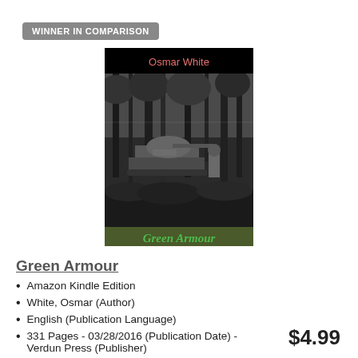WINNER IN COMPARISON
[Figure (illustration): Book cover for 'Green Armour' by Osmar White. Black background at top with author name in reddish text. Black and white photo of a military tank and soldier in a jungle setting. Bottom bar in olive green with 'Green Armour' in green italic text.]
Green Armour
Amazon Kindle Edition
White, Osmar (Author)
English (Publication Language)
331 Pages - 03/28/2016 (Publication Date) - Verdun Press (Publisher)
$4.99